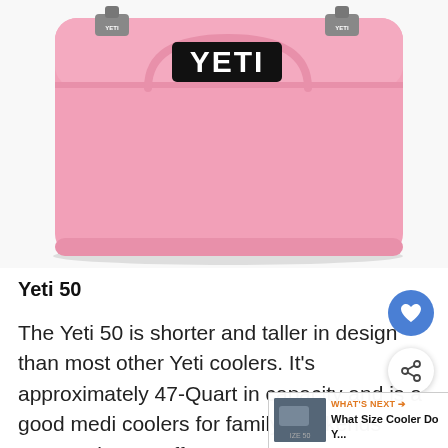[Figure (photo): Pink YETI 50 cooler (Tundra 45/50) photographed from the front on a white background. The cooler is pink with two silver T-shaped lid latches labeled YETI and a black YETI logo badge on the front.]
Yeti 50
The Yeti 50 is shorter and taller in design than most other Yeti coolers. It's approximately 47-Quart in capacity and is a good medi coolers for family weekends away or longer off-